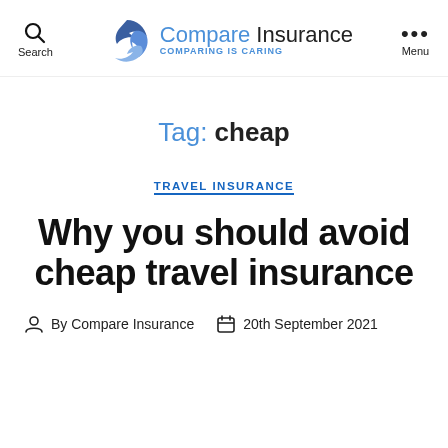[Figure (logo): Compare Insurance logo with circular arrow icon and tagline 'COMPARING IS CARING']
Tag: cheap
TRAVEL INSURANCE
Why you should avoid cheap travel insurance
By Compare Insurance   20th September 2021